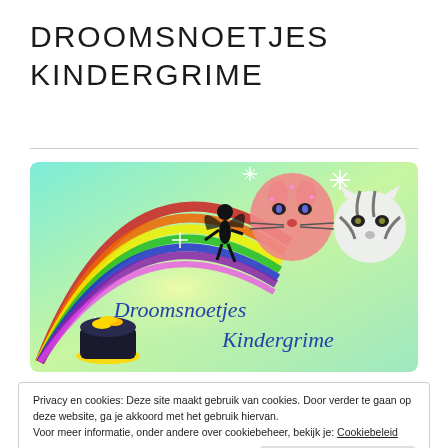DROOMSNOETJES KINDERGRIME
[Figure (illustration): Colorful banner image with mint green background, rainbow, fairy silhouette, face-painted cat and zebra faces, pot of gold, stars, and text 'Droomsnoetjes Kindergrime']
Privacy en cookies: Deze site maakt gebruik van cookies. Door verder te gaan op deze website, ga je akkoord met het gebruik hiervan.
Voor meer informatie, onder andere over cookiebeheer, bekijk je: Cookiebeleid
Sluiten en bevestigen
30 JUNI 2013 | INNEVLOEMANS